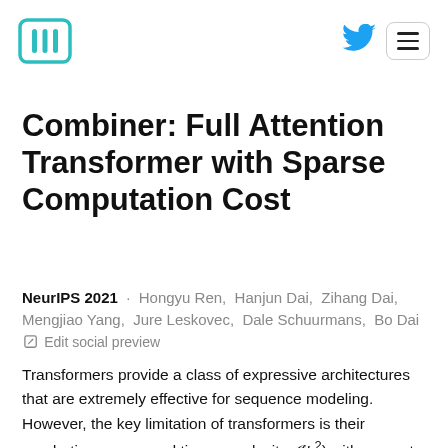[Figure (logo): Hugging Face logo — bracket pattern [|||] in teal/cyan color]
[Figure (logo): Twitter bird logo in blue]
[Figure (other): Hamburger menu button with three horizontal lines, bordered box]
Combiner: Full Attention Transformer with Sparse Computation Cost
NeurIPS 2021 · Hongyu Ren, Hanjun Dai, Zihang Dai, Mengjiao Yang, Jure Leskovec, Dale Schuurmans, Bo Dai  Edit social preview
Transformers provide a class of expressive architectures that are extremely effective for sequence modeling. However, the key limitation of transformers is their quadratic memory and time complexity O(L²) with respect to the sequence